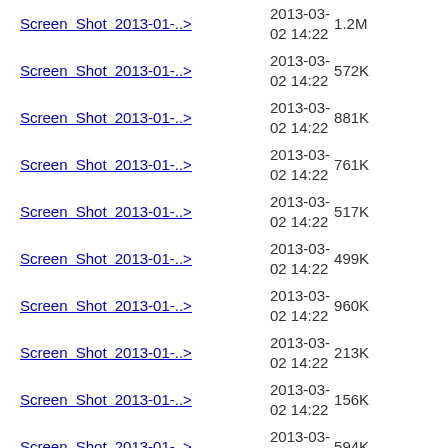Screen Shot 2013-01-..> 2013-03-02 14:22 1.2M
Screen Shot 2013-01-..> 2013-03-02 14:22 572K
Screen Shot 2013-01-..> 2013-03-02 14:22 881K
Screen Shot 2013-01-..> 2013-03-02 14:22 761K
Screen Shot 2013-01-..> 2013-03-02 14:22 517K
Screen Shot 2013-01-..> 2013-03-02 14:22 499K
Screen Shot 2013-01-..> 2013-03-02 14:22 960K
Screen Shot 2013-01-..> 2013-03-02 14:22 213K
Screen Shot 2013-01-..> 2013-03-02 14:22 156K
Screen Shot 2013-01-..> 2013-03-02 14:22 594K
Screen Shot 2013-01-..> 2013-03-02 14:22 170K
Screen Shot 2013-01-..> 2013-03-02 ...